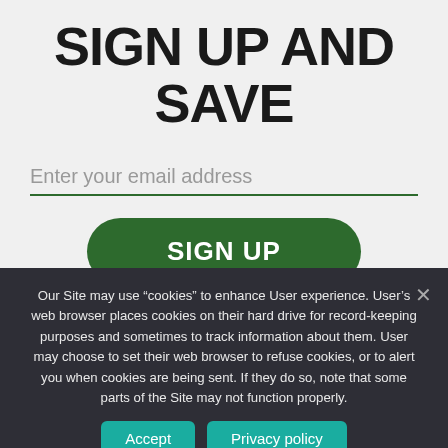SIGN UP AND SAVE
Enter your email address
SIGN UP
Our Site may use “cookies” to enhance User experience. User’s web browser places cookies on their hard drive for record-keeping purposes and sometimes to track information about them. User may choose to set their web browser to refuse cookies, or to alert you when cookies are being sent. If they do so, note that some parts of the Site may not function properly.
Accept
Privacy policy